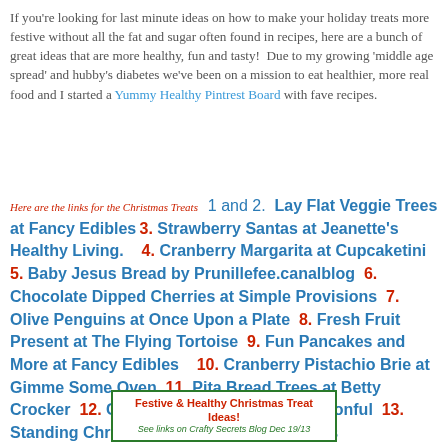If you're looking for last minute ideas on how to make your holiday treats more festive without all the fat and sugar often found in recipes, here are a bunch of great ideas that are more healthy, fun and tasty!  Due to my growing 'middle age spread' and hubby's diabetes we've been on a mission to eat healthier, more real food and I started a Yummy Healthy Pintrest Board with fave recipes.
Here are the links for the Christmas Treats  1 and 2. Lay Flat Veggie Trees at Fancy Edibles 3. Strawberry Santas at Jeanette's Healthy Living.   4. Cranberry Margarita at Cupcaketini  5. Baby Jesus Bread by Prunillefee.canalblog  6. Chocolate Dipped Cherries at Simple Provisions  7. Olive Penguins at Once Upon a Plate  8. Fresh Fruit Present at The Flying Tortoise  9. Fun Pancakes and More at Fancy Edibles   10. Cranberry Pistachio Brie at Gimme Some Oven  11. Pita Bread Trees at Betty Crocker  12. Cream Cheese Present at Spoonful  13. Standing Christmas Trees at Fancy Edibles
[Figure (other): Badge/button reading 'Festive & Healthy Christmas Treat Ideas!' with subtitle 'See links on Crafty Secrets Blog Dec 19/13', green border]